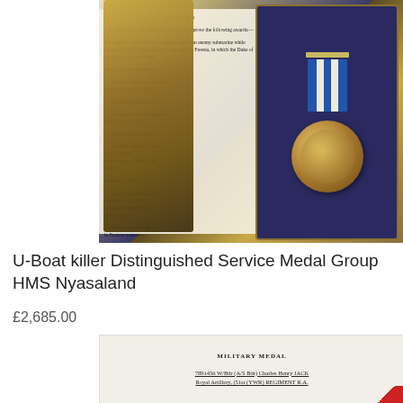[Figure (photo): Photograph showing an open medal box with a Distinguished Service Medal on a blue ribbon, alongside a wartime London Gazette document listing naval awards for HMS Nyasaland.]
U-Boat killer Distinguished Service Medal Group HMS Nyasaland
£2,685.00
[Figure (photo): Photograph of an official military document showing 'MILITARY MEDAL' heading and recipient details: 7891456 W/Bdr (A/S Bdr) Charles Henry JACK Royal Artillery, (51st (YWR) REGIMENT R.A.]